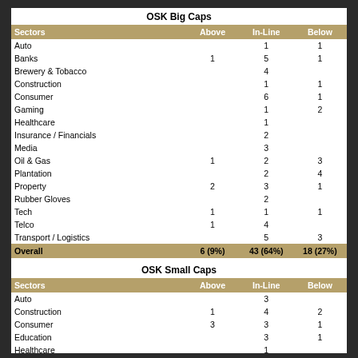| Sectors | Above | In-Line | Below |
| --- | --- | --- | --- |
| Auto |  | 1 | 1 |
| Banks | 1 | 5 | 1 |
| Brewery & Tobacco |  | 4 |  |
| Construction |  | 1 | 1 |
| Consumer |  | 6 | 1 |
| Gaming |  | 1 | 2 |
| Healthcare |  | 1 |  |
| Insurance / Financials |  | 2 |  |
| Media |  | 3 |  |
| Oil & Gas | 1 | 2 | 3 |
| Plantation |  | 2 | 4 |
| Property | 2 | 3 | 1 |
| Rubber Gloves |  | 2 |  |
| Tech | 1 | 1 | 1 |
| Telco | 1 | 4 |  |
| Transport / Logistics |  | 5 | 3 |
| Overall | 6 (9%) | 43 (64%) | 18 (27%) |
| Sectors | Above | In-Line | Below |
| --- | --- | --- | --- |
| Auto |  | 3 |  |
| Construction | 1 | 4 | 2 |
| Consumer | 3 | 3 | 1 |
| Education |  | 3 | 1 |
| Healthcare |  | 1 |  |
| Insurance / Financials | 3 | 1 | 1 |
| Media | 1 | 2 | 3 |
| Oil & Gas |  |  |  |